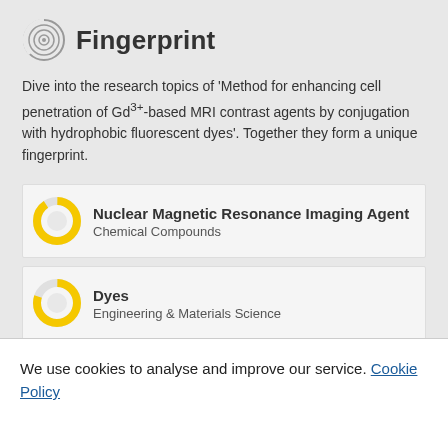Fingerprint
Dive into the research topics of 'Method for enhancing cell penetration of Gd3+-based MRI contrast agents by conjugation with hydrophobic fluorescent dyes'. Together they form a unique fingerprint.
Nuclear Magnetic Resonance Imaging Agent — Chemical Compounds
Dyes — Engineering & Materials Science
Fluorescent Dyes
We use cookies to analyse and improve our service. Cookie Policy